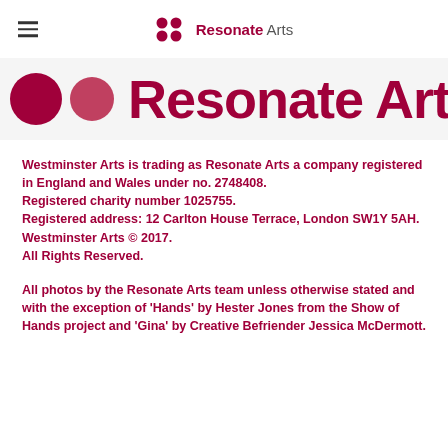[Figure (logo): Resonate Arts logo in navigation bar with hamburger menu icon, small dots and 'Resonate Arts' text]
[Figure (logo): Large Resonate Arts logo banner showing two large circles and 'Resonate Arts' text in dark red/maroon]
Westminster Arts is trading as Resonate Arts a company registered in England and Wales under no. 2748408. Registered charity number 1025755. Registered address: 12 Carlton House Terrace, London SW1Y 5AH. Westminster Arts © 2017. All Rights Reserved.
All photos by the Resonate Arts team unless otherwise stated and with the exception of 'Hands' by Hester Jones from the Show of Hands project and 'Gina' by Creative Befriender Jessica McDermott.